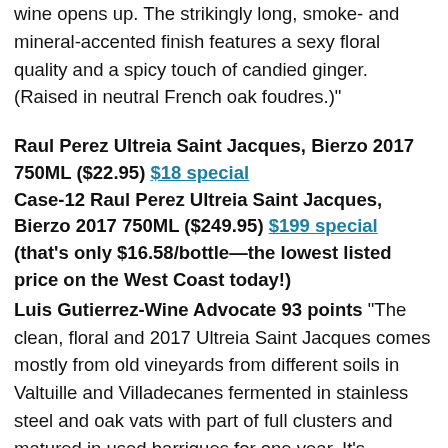wine opens up. The strikingly long, smoke- and mineral-accented finish features a sexy floral quality and a spicy touch of candied ginger. (Raised in neutral French oak foudres.)"
Raul Perez Ultreia Saint Jacques, Bierzo 2017 750ML ($22.95) $18 special
Case-12 Raul Perez Ultreia Saint Jacques, Bierzo 2017 750ML ($249.95) $199 special (that's only $16.58/bottle—the lowest listed price on the West Coast today!)
Luis Gutierrez-Wine Advocate 93 points "The clean, floral and 2017 Ultreia Saint Jacques comes mostly from old vineyards from different soils in Valtuille and Villadecanes fermented in stainless steel and oak vats with part of full clusters and matured in used barriques for one year. It's produced in a fresh and very drinkable way. This is one of the best values from Bierzo and Spain, and a great introduction to Bierzo. It's a more